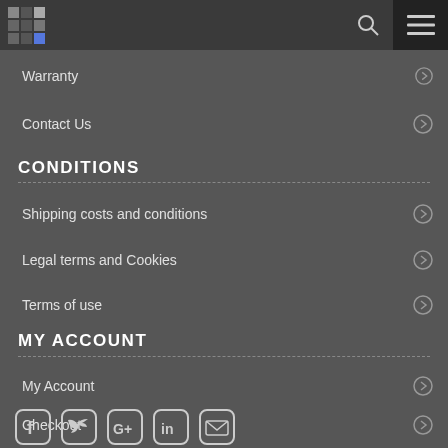Navigation header with logo, search, and menu icons
Warranty
Contact Us
CONDITIONS
Shipping costs and conditions
Legal terms and Cookies
Terms of use
MY ACCOUNT
My Account
Checkout
[Figure (illustration): Social media icons row: Facebook, Twitter, Google+, LinkedIn, Email]